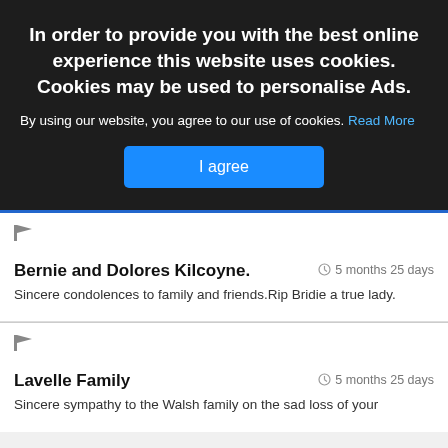In order to provide you with the best online experience this website uses cookies. Cookies may be used to personalise Ads.
By using our website, you agree to our use of cookies. Read More
I agree
Bernie and Dolores Kilcoyne.
5 months 25 days
Sincere condolences to family and friends.Rip Bridie a true lady.
Lavelle Family
5 months 25 days
Sincere sympathy to the Walsh family on the sad loss of your